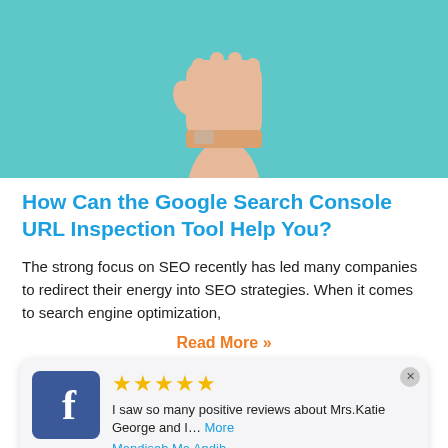[Figure (illustration): Illustration of a raised fist/hand on teal/turquoise background]
How Can the Google Search Console URL Inspection Tool Help You?
The strong focus on SEO recently has led many companies to redirect their energy into SEO strategies. When it comes to search engine optimization,
Read More »
★★★★★ I saw so many positive reviews about Mrs.Katie George and I... More
Mandisah Ma Andih